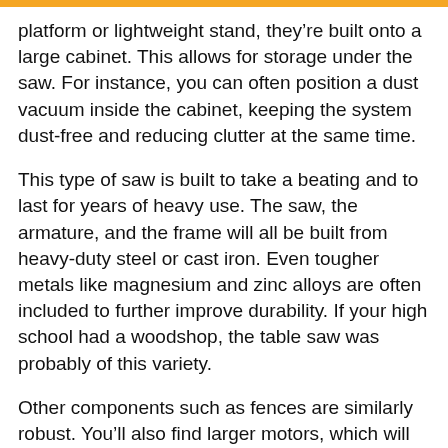platform or lightweight stand, they're built onto a large cabinet. This allows for storage under the saw. For instance, you can often position a dust vacuum inside the cabinet, keeping the system dust-free and reducing clutter at the same time.
This type of saw is built to take a beating and to last for years of heavy use. The saw, the armature, and the frame will all be built from heavy-duty steel or cast iron. Even tougher metals like magnesium and zinc alloys are often included to further improve durability. If your high school had a woodshop, the table saw was probably of this variety.
Other components such as fences are similarly robust. You'll also find larger motors, which will usually require a 240-volt outlet. These saws can cut through pressure-treated lumber, melamine, MDF, HDF, and other dense materials. With the right blades, they can even cut through